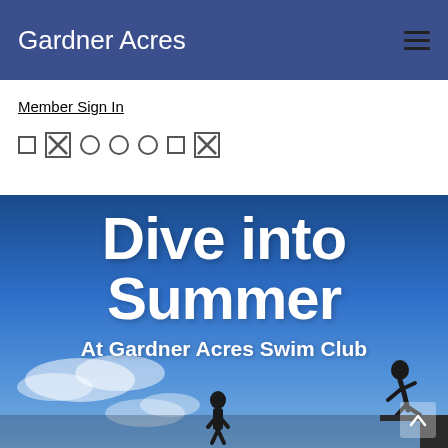Gardner Acres
Member Sign In
Social media icon row (various icons)
[Figure (photo): Hero banner photo showing silhouettes of people jumping against a blue sky with clouds. Large white bold text reads 'Dive into Summer' and below it 'At Gardner Acres Swim Club'. A chevron/up-arrow button appears at the bottom right.]